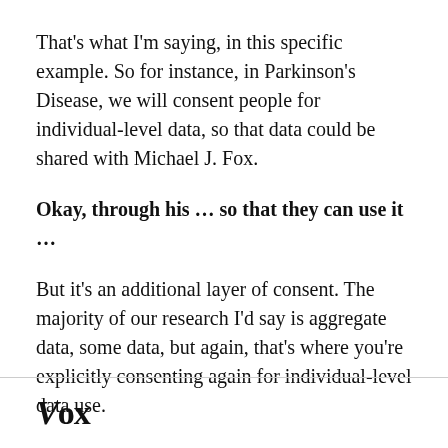That's what I'm saying, in this specific example. So for instance, in Parkinson's Disease, we will consent people for individual-level data, so that data could be shared with Michael J. Fox.
Okay, through his … so that they can use it …
But it's an additional layer of consent. The majority of our research I'd say is aggregate data, some data, but again, that's where you're explicitly consenting again for individual-level data use.
And what about the protection of the data within your walls?
Vox